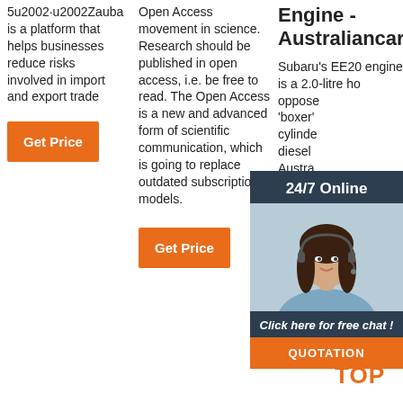5u2002·u2002Zauba is a platform that helps businesses reduce risks involved in import and export trade
Get Price
Open Access movement in science. Research should be published in open access, i.e. be free to read. The Open Access is a new and advanced form of scientific communication, which is going to replace outdated subscription models.
Get Price
Engine - Australiancar.Reviews
Subaru's EE20 engine is a 2.0-litre horizontally-opposed (or 'boxer') four-cylinder turbo-diesel engine. For Australia, the EE20 diesel engine was offered in the Subaru BR Outback in 2009 and subsequently powered the Subaru SH Forester, SJ Forester and BS Outback The
[Figure (illustration): Chat widget overlay with woman wearing headset, dark blue background, '24/7 Online' header, 'Click here for free chat!' text, and orange QUOTATION button]
[Figure (logo): TOP logo with orange triangle/arrow icon above orange TOP text]